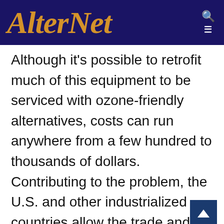AlterNet
Although it's possible to retrofit much of this equipment to be serviced with ozone-friendly alternatives, costs can run anywhere from a few hundred to thousands of dollars. Contributing to the problem, the U.S. and other industrialized countries allow the trade and use of recycled CFCs to maintain existing machinery. Because it's almost impossible to distinguish between new and recycled Freon, traders illegally bring CFCs into industrialized countries in the guise of recycled substances